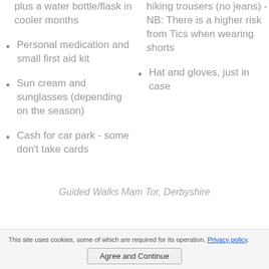plus a water bottle/flask in cooler months
Personal medication and small first aid kit
Sun cream and sunglasses (depending on the season)
Cash for car park - some don't take cards
hiking trousers (no jeans) - NB: There is a higher risk from Tics when wearing shorts
Hat and gloves, just in case
Guided Walks Mam Tor, Derbyshire
This site uses cookies, some of which are required for its operation. Privacy policy
Agree and Continue